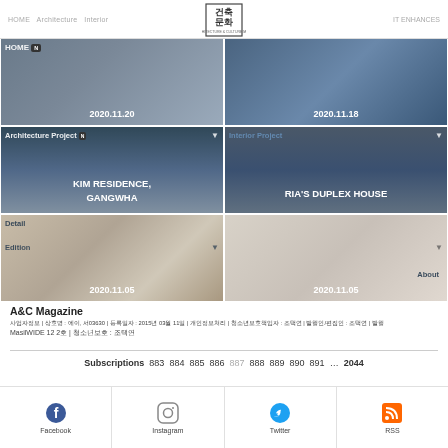건축문화 A&C Magazine website navigation header
[Figure (screenshot): Grid of architectural building photos - 6 cells in 2 columns, 3 rows showing residential architecture projects with dates 2020.11.20, 2020.11.18, 2020.11.05, 2020.11.05 and project titles KIM RESIDENCE, GANGWHA and RIA'S DUPLEX HOUSE]
A&C Magazine
사업자정보 | 상호명 : 에이, 서03630 | 등록일자 : 2015년 03월 11일 | 개인정보처리 | 청소년보호책임자 : 조택연 | 발행인/편집인 : 조택연 | 발행
MasilWIDE 12 2호 | 청소년보호 : 조택연
Subscriptions
883 884 885 886 887 888 889 890 891 … 2044
Facebook
Instagram
Twitter
RSS